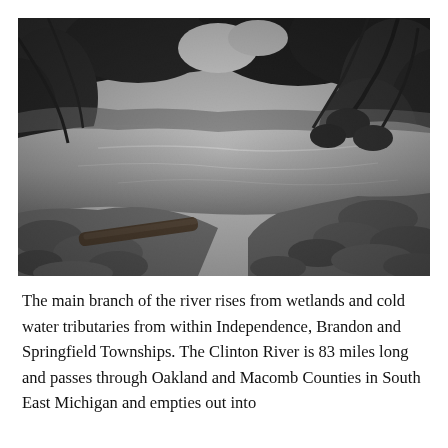[Figure (photo): Black and white photograph of a river scene with calm water reflecting the surrounding trees and foliage. Rocky shoreline in the foreground with large stones and a fallen log. Dense tree canopy overhead creating a natural tunnel effect over the water.]
The main branch of the river rises from wetlands and cold water tributaries from within Independence, Brandon and Springfield Townships. The Clinton River is 83 miles long and passes through Oakland and Macomb Counties in South East Michigan and empties out into